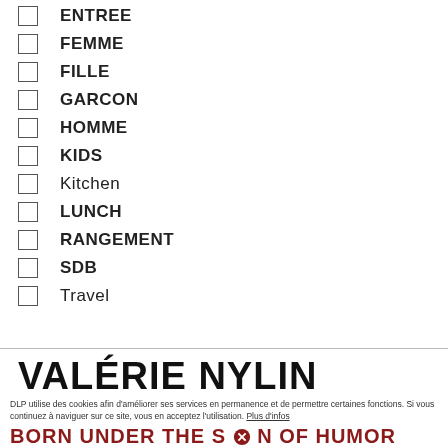ENTREE
FEMME
FILLE
GARCON
HOMME
KIDS
Kitchen
LUNCH
RANGEMENT
SDB
Travel
VALÉRIE NYLIN
BORN UNDER THE S⊗N OF HUMOR
DLP utilise des cookies afin d'améliorer ses services en permanence et de permettre certaines fonctions. Si vous continuez à naviguer sur ce site, vous en acceptez l'utilisation. Plus d'infos